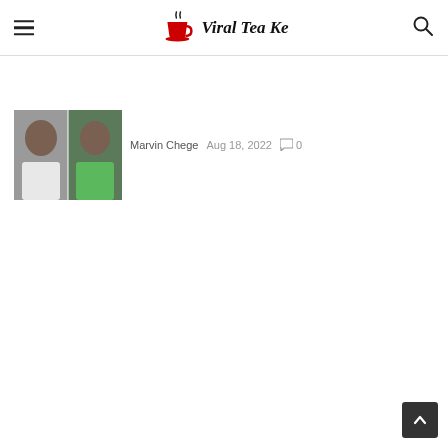Viral Tea Ke
[Figure (photo): Thumbnail image showing two people side by side — one in white, one in green uniform]
Marvin Chege  Aug 18, 2022  💬 0